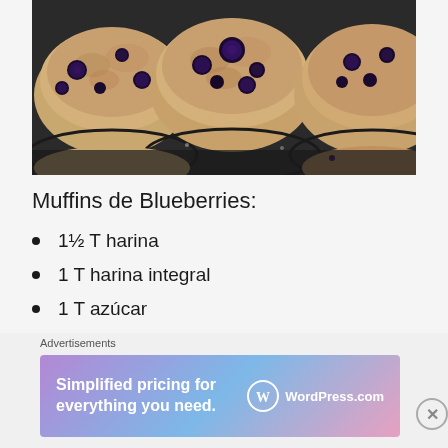[Figure (photo): Overhead close-up photograph of blueberry muffins in a dark muffin tin, showing golden-brown tops with whole blueberries]
Muffins de Blueberries:
1½ T harina
1 T harina integral
1 T azúcar
2½ c... (partially visible)
Advertisements
[Figure (infographic): WordPress.com advertisement banner: 'Simplified pricing for everything you need.' with WordPress.com logo on gradient pink-purple-blue background]